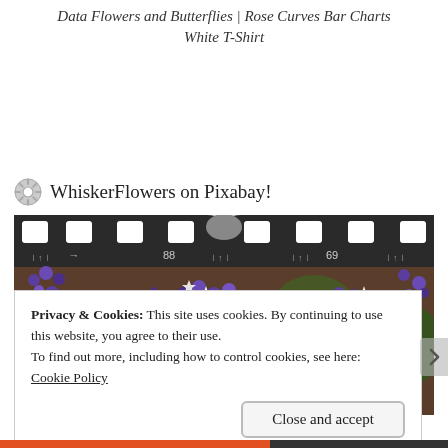Data Flowers and Butterflies | Rose Curves Bar Charts White T-Shirt
WhiskerFlowers on Pixabay!
[Figure (photo): A film strip style image showing purple and white flowers (Limonium / sea lavender) with a film perforations border at the top. Numbers 88 and 69 visible on the film strip border.]
Privacy & Cookies: This site uses cookies. By continuing to use this website, you agree to their use.
To find out more, including how to control cookies, see here: Cookie Policy
Close and accept